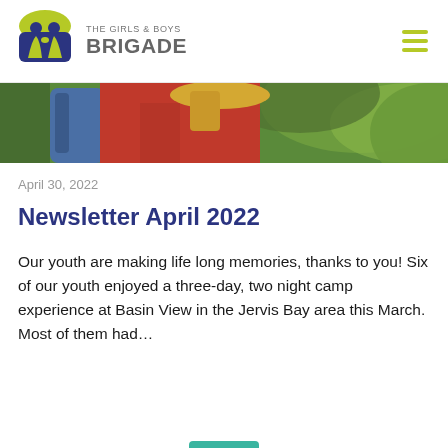THE GIRLS & BOYS BRIGADE
[Figure (photo): Partial photo of a child in a red jacket with blonde hair outdoors in a green environment, cropped to show upper body from behind]
April 30, 2022
Newsletter April 2022
Our youth are making life long memories, thanks to you! Six of our youth enjoyed a three-day, two night camp experience at Basin View in the Jervis Bay area this March. Most of them had…